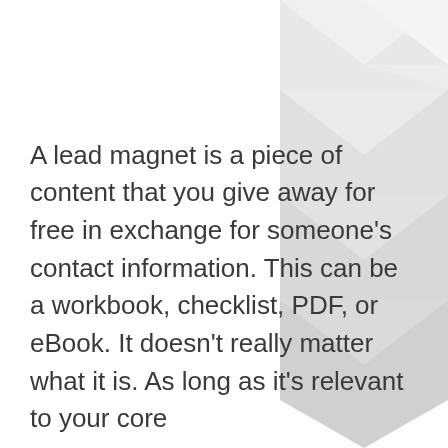[Figure (illustration): Decorative chevron/arrow pattern background in light grey tones, stacked diagonal arrow shapes pointing downward]
A lead magnet is a piece of content that you give away for free in exchange for someone's contact information. This can be a workbook, checklist, PDF, or eBook. It doesn't really matter what it is. As long as it's relevant to your core